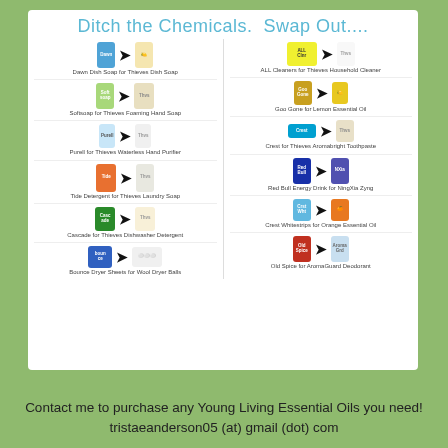Ditch the Chemicals. Swap Out....
[Figure (infographic): Two-column infographic showing product swaps: chemical household products (left item) replaced with natural/Young Living alternatives (right item). Left column: Dawn Dish Soap for Thieves Dish Soap, Softsoap for Thieves Foaming Hand Soap, Purell for Thieves Waterless Hand Purifier, Tide Detergent for Thieves Laundry Soap, Cascade for Thieves Dishwasher Detergent, Bounce Dryer Sheets for Wool Dryer Balls. Right column: ALL Cleaners for Thieves Household Cleaner, Goo Gone for Lemon Essential Oil, Crest for Thieves Aromabright Toothpaste, Red Bull Energy Drink for NingXia Zyng, Crest Whitestrips for Orange Essential Oil, Old Spice for AromaGuard Deodorant.]
Contact me to purchase any Young Living Essential Oils you need!
tristaeanderson05 (at) gmail (dot) com